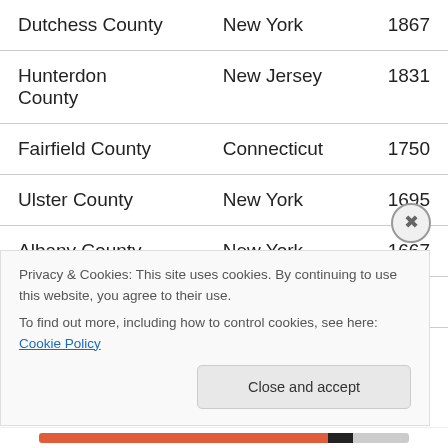| County | State | Value |
| --- | --- | --- |
| Dutchess County | New York | 1867 |
| Hunterdon County | New Jersey | 1831 |
| Fairfield County | Connecticut | 1750 |
| Ulster County | New York | 1695 |
| Albany County | New York | 1667 |
| Sussex County | New Jersey | 1659 |
Privacy & Cookies: This site uses cookies. By continuing to use this website, you agree to their use. To find out more, including how to control cookies, see here: Cookie Policy
Close and accept